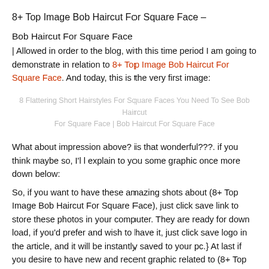8+ Top Image Bob Haircut For Square Face –
Bob Haircut For Square Face
| Allowed in order to the blog, with this time period I am going to demonstrate in relation to 8+ Top Image Bob Haircut For Square Face. And today, this is the very first image:
[Figure (illustration): Faded placeholder image caption: 8 Flattering Short Hairstyles For Square Faces You Need To See Bob Haircut For Square Face | Bob Haircut For Square Face]
8 Flattering Short Hairstyles For Square Faces You Need To See Bob Haircut For Square Face | Bob Haircut For Square Face
What about impression above? is that wonderful???. if you think maybe so, I'l l explain to you some graphic once more down below:
So, if you want to have these amazing shots about (8+ Top Image Bob Haircut For Square Face), just click save link to store these photos in your computer. They are ready for down load, if you'd prefer and wish to have it, just click save logo in the article, and it will be instantly saved to your pc.} At last if you desire to have new and recent graphic related to (8+ Top Image Bob Haircut For Square Face), please follow us on google plus or save this page, we try our best to offer you regular up